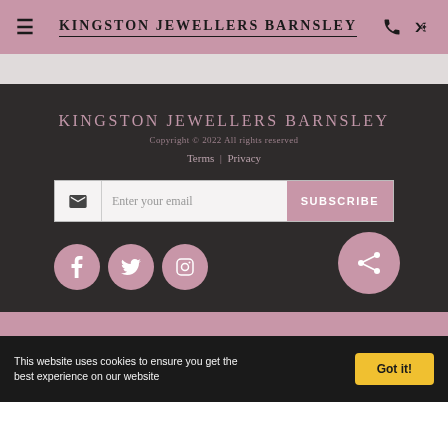KINGSTON JEWELLERS BARNSLEY
[Figure (screenshot): White/light gray bar separating header from footer]
KINGSTON JEWELLERS BARNSLEY
Copyright © 2022 All rights reserved
Terms | Privacy
[Figure (infographic): Email subscription bar with envelope icon, input field 'Enter your email', and SUBSCRIBE button]
[Figure (infographic): Social media icons: Facebook, Twitter, Instagram circles, and a large share circle button on the right]
This website uses cookies to ensure you get the best experience on our website  Got it!